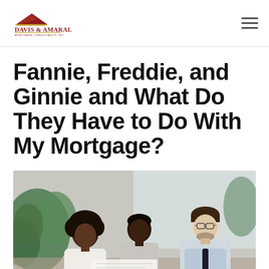[Figure (logo): Davis & Amaral Mortgage Consultants, Inc. logo with a house roof graphic above the text]
Fannie, Freddie, and Ginnie and What Do They Have to Do With My Mortgage?
[Figure (photo): Three people (a Black woman, a Black man, and a white man with glasses) looking at documents together in an office or meeting setting, with green plants in the background]